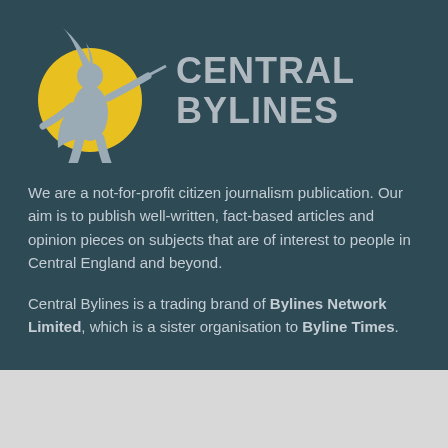[Figure (logo): Central Bylines logo with a yellow circle, grey silhouette of a warrior with a sword/lance, and grey bold text reading CENTRAL BYLINES]
We are a not-for-profit citizen journalism publication. Our aim is to publish well-written, fact-based articles and opinion pieces on subjects that are of interest to people in Central England and beyond.
Central Bylines is a trading brand of Bylines Network Limited, which is a sister organisation to Byline Times.